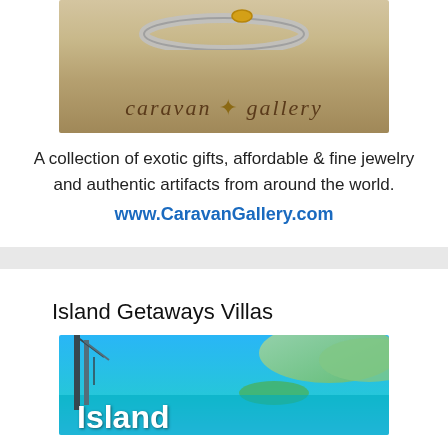[Figure (photo): Caravan Gallery advertisement image showing a silver ring on sand with the Caravan Gallery logo text]
A collection of exotic gifts, affordable & fine jewelry and authentic artifacts from around the world.
www.CaravanGallery.com
Island Getaways Villas
[Figure (photo): Island Getaways Villas promotional image showing tropical island, turquoise water, cranes, with 'Island' text overlay]